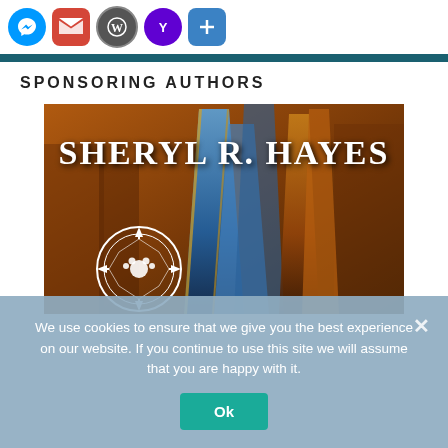[Figure (other): Social sharing icon buttons: Messenger (blue circle), Gmail (red square with M), WordPress (grey circle with W), Yahoo (purple circle with Y), Share/plus (blue square with plus sign)]
SPONSORING AUTHORS
[Figure (illustration): Book cover for Sheryl R. Hayes — fantasy book cover with blue and orange flames/shards, a circular emblem with a paw print, on a dark urban background. Author name 'SHERYL R. HAYES' displayed in large serif font.]
We use cookies to ensure that we give you the best experience on our website. If you continue to use this site we will assume that you are happy with it.